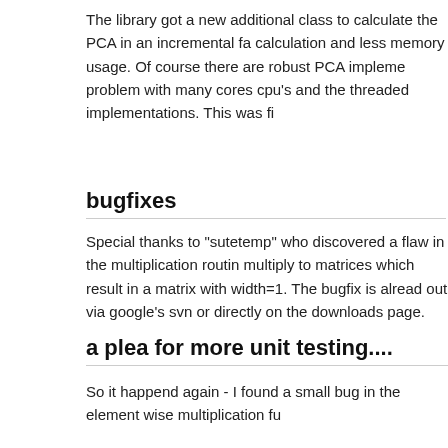The library got a new additional class to calculate the PCA in an incremental fa calculation and less memory usage. Of course there are robust PCA impleme problem with many cores cpu's and the threaded implementations. This was fi
bugfixes
Special thanks to "sutetemp" who discovered a flaw in the multiplication routin multiply to matrices which result in a matrix with width=1. The bugfix is alread out via google's svn or directly on the downloads page.
a plea for more unit testing....
So it happend again - I found a small bug in the element wise multiplication fu wouldn't have happend if there would be more unit testings which would test e some unit tests (I just don't have the time to add all of them) which do some ch there adding some unit tests?
a new image processing library has arrived
Good news everyone - the mrMath library has been extended by a few nice im mrImageUtils library contains simple rgb to matrix and vice versa functions.